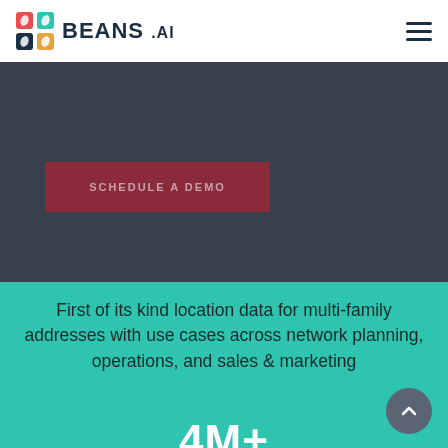[Figure (logo): Beans.AI logo with colorful icon and bold text BEANS .AI]
[Figure (screenshot): Dark gray section with a dark red 'SCHEDULE A DEMO' button]
First of its kind location data for multi-family addresses with use cases across network planning, operations, and sales & marketing
4M+